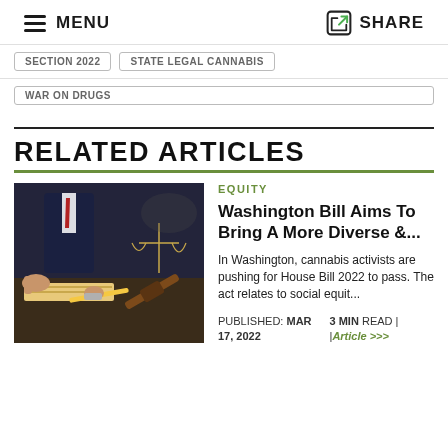MENU | SHARE
SECTION 2022
STATE LEGAL CANNABIS
WAR ON DRUGS
RELATED ARTICLES
[Figure (photo): Photo of two people at a desk with a gavel and scales of justice in the background]
EQUITY
Washington Bill Aims To Bring A More Diverse &...
In Washington, cannabis activists are pushing for House Bill 2022 to pass. The act relates to social equit...
PUBLISHED: MAR 17, 2022   3 MIN READ | Article >>>